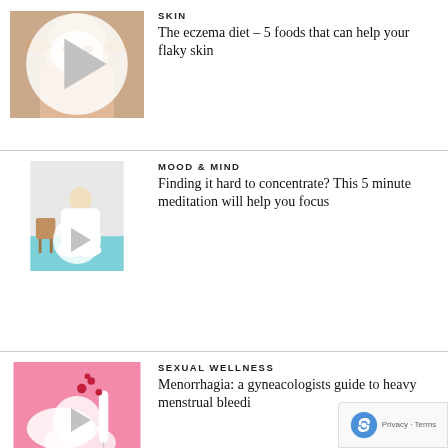[Figure (photo): Person applying face mask or sheet, play button overlay]
SKIN
The eczema diet – 5 foods that can help your flaky skin
[Figure (photo): Person in white robe seated in meditation pose, play button overlay]
MOOD & MIND
Finding it hard to concentrate? This 5 minute meditation will help you focus
[Figure (photo): Menstrual health products on pink background, play button overlay]
SEXUAL WELLNESS
Menorrhagia: a gyneacologists guide to heavy menstrual bleedi